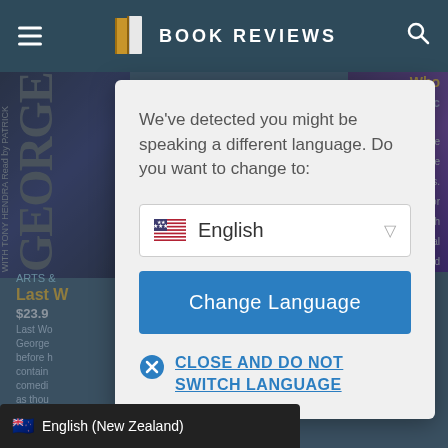[Figure (screenshot): Book Reviews website navigation bar with hamburger menu, logo (two book pages icon), 'BOOK REVIEWS' title, and search icon on dark teal background]
[Figure (screenshot): Background website content showing book covers and partial article text about 'Last W...' for $23.9, with text snippets partially visible behind the modal overlay]
We've detected you might be speaking a different language. Do you want to change to:
English
Change Language
CLOSE AND DO NOT SWITCH LANGUAGE
English (New Zealand)